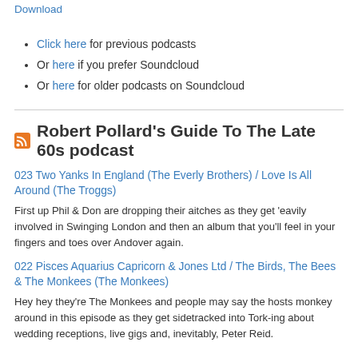Download
Click here for previous podcasts
Or here if you prefer Soundcloud
Or here for older podcasts on Soundcloud
Robert Pollard's Guide To The Late 60s podcast
023 Two Yanks In England (The Everly Brothers) / Love Is All Around (The Troggs)
First up Phil & Don are dropping their aitches as they get 'eavily involved in Swinging London and then an album that you'll feel in your fingers and toes over Andover again.
022 Pisces Aquarius Capricorn & Jones Ltd / The Birds, The Bees & The Monkees (The Monkees)
Hey hey they're The Monkees and people may say the hosts monkey around in this episode as they get sidetracked into Tork-ing about wedding receptions, live gigs and, inevitably, Peter Reid.